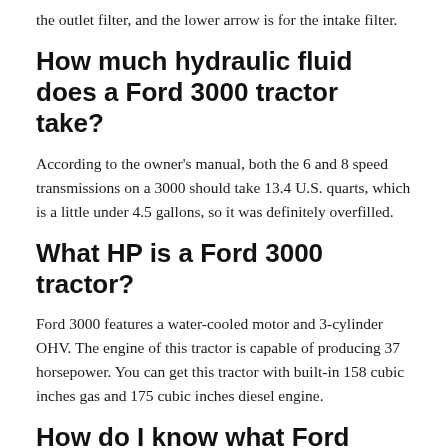the outlet filter, and the lower arrow is for the intake filter.
How much hydraulic fluid does a Ford 3000 tractor take?
According to the owner's manual, both the 6 and 8 speed transmissions on a 3000 should take 13.4 U.S. quarts, which is a little under 4.5 gallons, so it was definitely overfilled.
What HP is a Ford 3000 tractor?
Ford 3000 features a water-cooled motor and 3-cylinder OHV. The engine of this tractor is capable of producing 37 horsepower. You can get this tractor with built-in 158 cubic inches gas and 175 cubic inches diesel engine.
How do I know what Ford tractor I have?